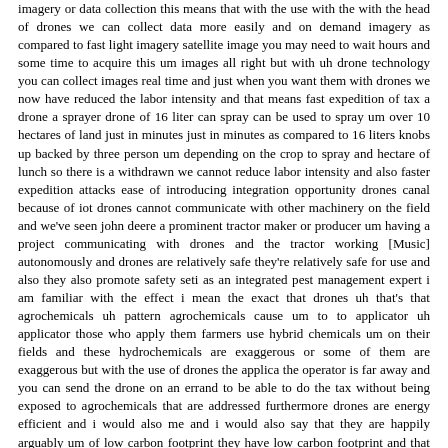imagery or data collection this means that with the use with the with the head of drones we can collect data more easily and on demand imagery as compared to fast light imagery satellite image you may need to wait hours and some time to acquire this um images all right but with uh drone technology you can collect images real time and just when you want them with drones we now have reduced the labor intensity and that means fast expedition of tax a drone a sprayer drone of 16 liter can spray can be used to spray um over 10 hectares of land just in minutes just in minutes as compared to 16 liters knobs up backed by three person um depending on the crop to spray and hectare of lunch so there is a withdrawn we cannot reduce labor intensity and also faster expedition attacks ease of introducing integration opportunity drones canal because of iot drones cannot communicate with other machinery on the field and we've seen john deere a prominent tractor maker or producer um having a project communicating with drones and the tractor working [Music] autonomously and drones are relatively safe they're relatively safe for use and also they also promote safety seti as an integrated pest management expert i am familiar with the effect i mean the exact that drones uh that's that agrochemicals uh pattern agrochemicals cause um to to applicator uh applicator those who apply them farmers use hybrid chemicals um on their fields and these hydrochemicals are exaggerous or some of them are exaggerous but with the use of drones the applica the operator is far away and you can send the drone on an errand to be able to do the tax without being exposed to agrochemicals that are addressed furthermore drones are energy efficient and i would also me and i would also say that they are happily arguably um of low carbon footprint they have low carbon footprint and that is contributing towards fighting climate change and helping us to adapt or mitigate climate change they're energy efficient i must stress that because many drones that we have now now use lithium polymer batteries um to work and not fossil fuel although there are drones that could use fossil fuels but they are far even more efficient in use as compared